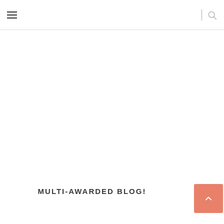≡  |  🔍
[Figure (other): Large blank white advertisement/content area below the header navigation bar]
MULTI-AWARDED BLOG!
[Figure (logo): Partial golden laurel wreath award logo at the bottom of the page]